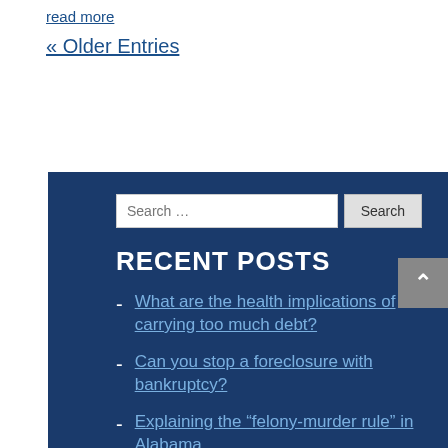read more
« Older Entries
Search …
RECENT POSTS
What are the health implications of carrying too much debt?
Can you stop a foreclosure with bankruptcy?
Explaining the “felony-murder rule” in Alabama
Serious illnesses like cancer can lead to bankruptcy